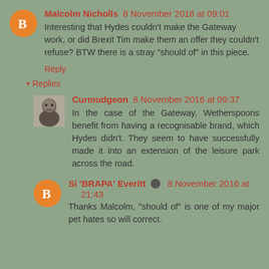Malcolm Nicholls 8 November 2016 at 09:01
Interesting that Hydes couldn't make the Gateway work, or did Brexit Tim make them an offer they couldn't refuse? BTW there is a stray "should of" in this piece.
Reply
▾ Replies
Curmudgeon 8 November 2016 at 09:37
In the case of the Gateway, Wetherspoons benefit from having a recognisable brand, which Hydes didn't. They seem to have successfully made it into an extension of the leisure park across the road.
Si 'BRAPA' Everitt 🖊 8 November 2016 at 21:43
Thanks Malcolm, "should of" is one of my major pet hates so will correct.